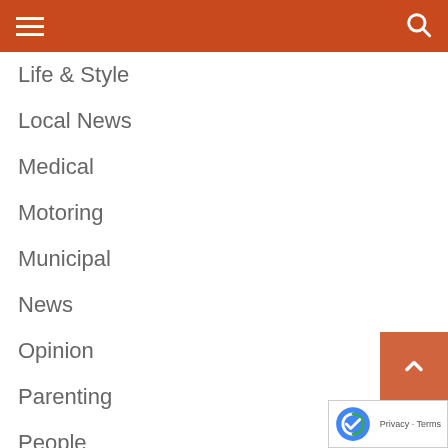Navigation menu header bar
Life & Style
Local News
Medical
Motoring
Municipal
News
Opinion
Parenting
People
Politics
Popular
Recommended
Religion
Retail & Shopping
Rugby
SAPS
SARS